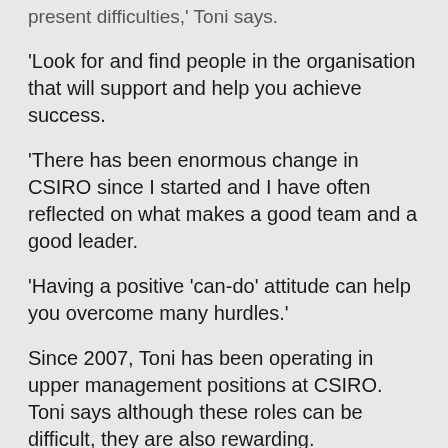present difficulties,' Toni says.
'Look for and find people in the organisation that will support and help you achieve success.
'There has been enormous change in CSIRO since I started and I have often reflected on what makes a good team and a good leader.
'Having a positive 'can-do' attitude can help you overcome many hurdles.'
Since 2007, Toni has been operating in upper management positions at CSIRO. Toni says although these roles can be difficult, they are also rewarding.
'One of the most rewarding moments was when I stood beside [former] CE Megan Clark in Hobart and cracked a bottle of champagne over the hull of our brand new RV Investigator,' Toni says.